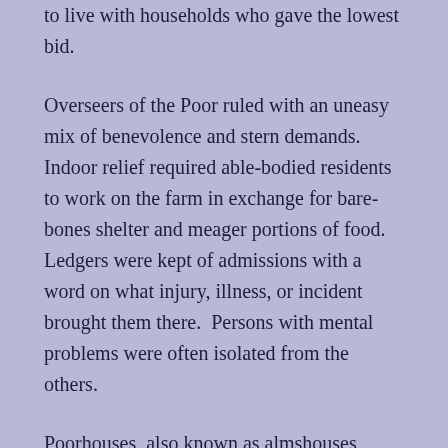to live with households who gave the lowest bid.
Overseers of the Poor ruled with an uneasy mix of benevolence and stern demands. Indoor relief required able-bodied residents to work on the farm in exchange for bare-bones shelter and meager portions of food. Ledgers were kept of admissions with a word on what injury, illness, or incident brought them there.  Persons with mental problems were often isolated from the others.
Poorhouses, also known as almshouses, workhouses, or county homes reached their highest numbers in the mid-1800's.  As years went by, the people who had passed